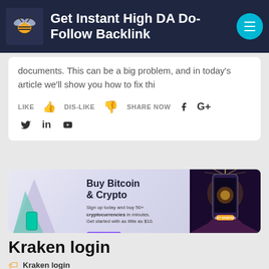Get Instant High DA Do-Follow Backlink
documents. This can be a big problem, and in today's article we'll show you how to fix thi
LIKE  DIS-LIKE  SHARE NOW  f  G+
[Figure (infographic): Buy Bitcoin & Crypto advertisement banner with purple/dark background and phone image. Sign up today and buy 50+ cryptocurrencies in minutes. Get started with as little as $10.]
Kraken login
Kraken login
Kraken login account to be your primary exchange for